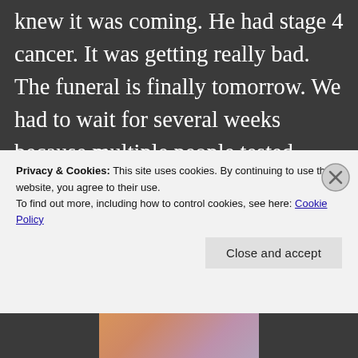knew it was coming. He had stage 4 cancer. It was getting really bad. The funeral is finally tomorrow. We had to wait for several weeks because multiple people tested positive and where in quarantine. Tomorrow will be the first time I've been in my hometown since Christmas. It will be the first funeral I've been to since my dad's. We have COVID to worry about; so there's that added stress.
Privacy & Cookies: This site uses cookies. By continuing to use this website, you agree to their use. To find out more, including how to control cookies, see here: Cookie Policy
Close and accept